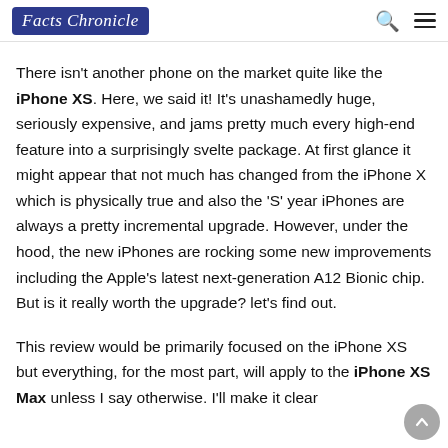Facts Chronicle
There isn't another phone on the market quite like the iPhone XS. Here, we said it! It's unashamedly huge, seriously expensive, and jams pretty much every high-end feature into a surprisingly svelte package. At first glance it might appear that not much has changed from the iPhone X which is physically true and also the 'S' year iPhones are always a pretty incremental upgrade. However, under the hood, the new iPhones are rocking some new improvements including the Apple's latest next-generation A12 Bionic chip. But is it really worth the upgrade? let's find out.
This review would be primarily focused on the iPhone XS but everything, for the most part, will apply to the iPhone XS Max unless I say otherwise. I'll make it clear